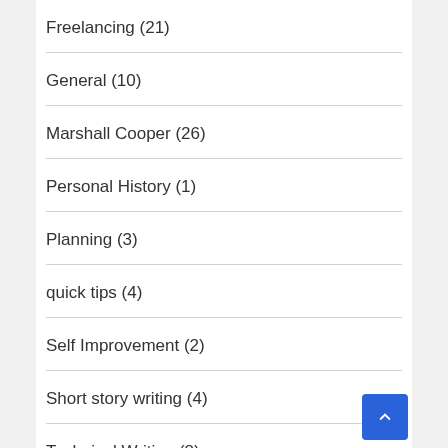Freelancing (21)
General (10)
Marshall Cooper (26)
Personal History (1)
Planning (3)
quick tips (4)
Self Improvement (2)
Short story writing (4)
Technical Writing (8)